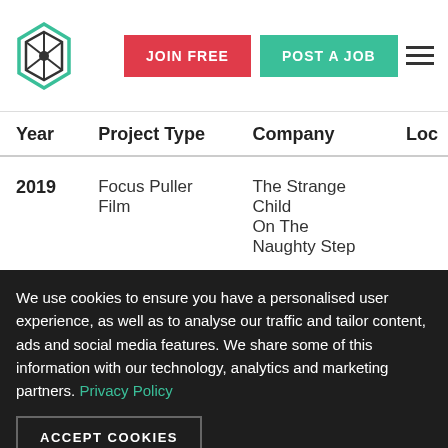JOIN FREE | POST A JOB
| Year | Project Type | Company | Loc |
| --- | --- | --- | --- |
| 2019 | Focus Puller Film | The Strange Child On The Naughty Step |  |
| 2019 | Focus Puller Commercials & Industrials | Kenwood Objekt Films |  |
We use cookies to ensure you have a personalised user experience, as well as to analyse our traffic and tailor content, ads and social media features. We share some of this information with our technology, analytics and marketing partners. Privacy Policy
ACCEPT COOKIES